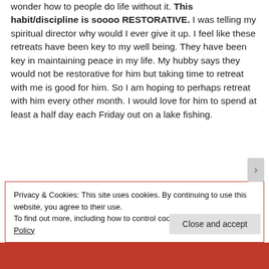wonder how to people do life without it. This habit/discipline is soooo RESTORATIVE. I was telling my spiritual director why would I ever give it up. I feel like these retreats have been key to my well being. They have been key in maintaining peace in my life. My hubby says they would not be restorative for him but taking time to retreat with me is good for him. So I am hoping to perhaps retreat with him every other month. I would love for him to spend at least a half day each Friday out on a lake fishing.
Privacy & Cookies: This site uses cookies. By continuing to use this website, you agree to their use.
To find out more, including how to control cookies, see here: Cookie Policy
Close and accept